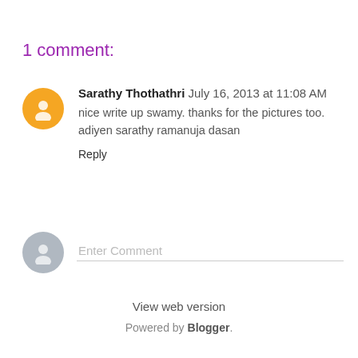1 comment:
Sarathy Thothathri July 16, 2013 at 11:08 AM
nice write up swamy. thanks for the pictures too.
adiyen sarathy ramanuja dasan
Reply
Enter Comment
View web version
Powered by Blogger.